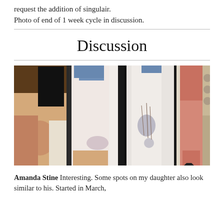request the addition of singulair.
Photo of end of 1 week cycle in discussion.
Discussion
[Figure (photo): A collage of 4 medical photos showing a child's face/scalp and close-up views of a limb/skin area showing spots or rash, with one photo showing redness on an arm/leg.]
Amanda Stine Interesting. Some spots on my daughter also look similar to his. Started in March,